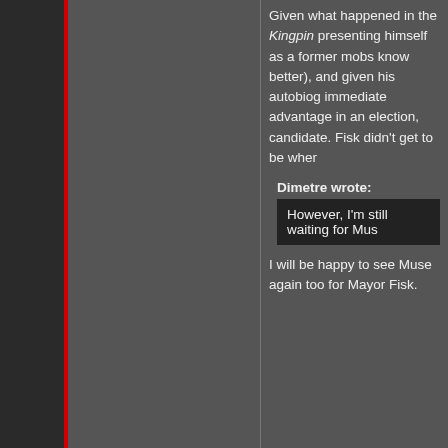Given what happened in the Kingpin presenting himself as a former mobs know better), and given his autobiog immediate advantage in an election, candidate. Fisk didn't get to be wher
Dimetre wrote:
However, I'm still waiting for Mus...
I will be happy to see Muse again too for Mayor Fisk.
Back to top
Mike Murdock
King of Hell's Kitchen

Joined: 08 Sep 2014
Posts: 1667
Posted: Wed Oct 25, 2017 8:22 pm   Po...
I love the sense of dread the Beast b and the idea of killing and resurrectir predictable, unfortunately. That being about his motivations and all that. I th but Charles Soule is an immigration a it's not the typical ending for an illega but still well-handled. I'm excited for